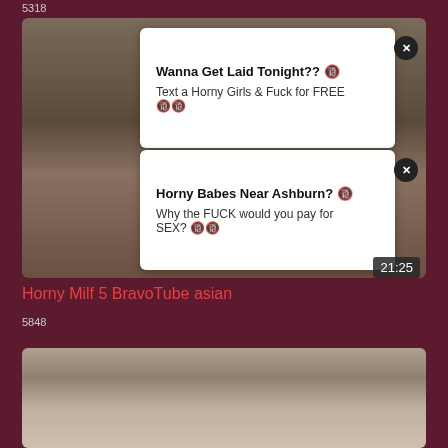5318
[Figure (screenshot): Video thumbnail with two ad overlays and duration badge showing 21:25]
Wanna Get Laid Tonight?? 🔞
Text a Horny Girls & Fuck for FREE 🔞🔞
Horny Babes Near Ashburn? 🔞
Why the FUCK would you pay for SEX? 🔞🔞
21:25
Horny Milf 5 BravoTube asian
5848
[Figure (screenshot): Video thumbnail of three women in a room]